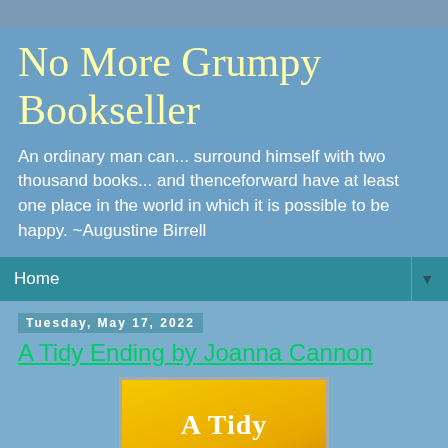No More Grumpy Bookseller
An ordinary man can... surround himself with two thousand books... and thenceforward have at least one place in the world in which it is possible to be happy. ~Augustine Birrell
Home
Tuesday, May 17, 2022
A Tidy Ending by Joanna Cannon
[Figure (illustration): Book cover of 'A Tidy Ending' with yellow/gold gradient background and white bold serif text reading 'A Tidy Ending', with a small bird illustration at the bottom.]